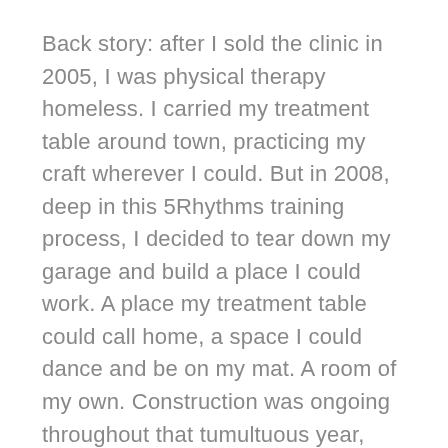Back story: after I sold the clinic in 2005, I was physical therapy homeless. I carried my treatment table around town, practicing my craft wherever I could. But in 2008, deep in this 5Rhythms training process, I decided to tear down my garage and build a place I could work. A place my treatment table could call home, a space I could dance and be on my mat. A room of my own. Construction was ongoing throughout that tumultuous year, sort of nearing completion when I left for that final module at Westerbeke.
Gabrielle was the first patient I treated in this backyard dream space. I'm ever sensitive to the way she blessed it with her presence.